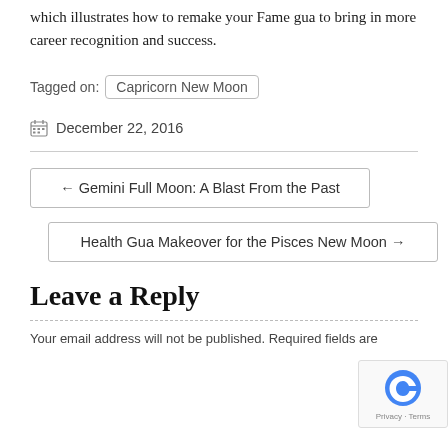which illustrates how to remake your Fame gua to bring in more career recognition and success.
Tagged on: Capricorn New Moon
December 22, 2016
← Gemini Full Moon: A Blast From the Past
Health Gua Makeover for the Pisces New Moon →
Leave a Reply
Your email address will not be published. Required fields are